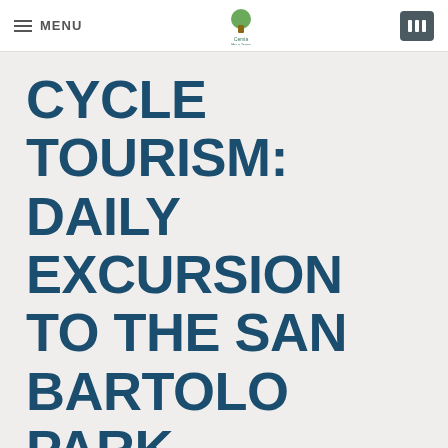MENU
CYCLE TOURISM: DAILY EXCURSION TO THE SAN BARTOLO PARK
INQUIRE BOOKING
[Figure (photo): Blue sky with white clouds, bottom strip of page]